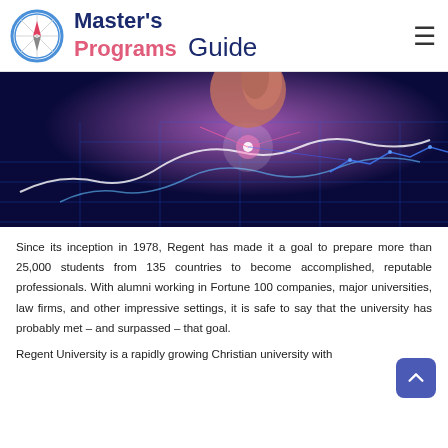Master's Programs Guide
[Figure (photo): A finger touching a glowing blue digital touchscreen display with light patterns and circuit-like illuminated graphics.]
Since its inception in 1978, Regent has made it a goal to prepare more than 25,000 students from 135 countries to become accomplished, reputable professionals. With alumni working in Fortune 100 companies, major universities, law firms, and other impressive settings, it is safe to say that the university has probably met – and surpassed – that goal.
Regent University is a rapidly growing Christian university with